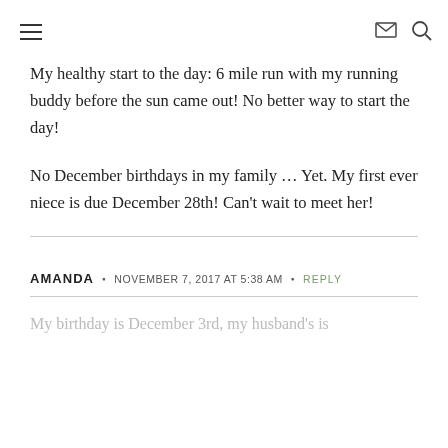≡  ✉ 🔍
My healthy start to the day: 6 mile run with my running buddy before the sun came out! No better way to start the day!
No December birthdays in my family … Yet. My first ever niece is due December 28th! Can't wait to meet her!
AMANDA  •  NOVEMBER 7, 2017 AT 5:38 AM  •  REPLY
My birthday is December 3rd, my husband's is